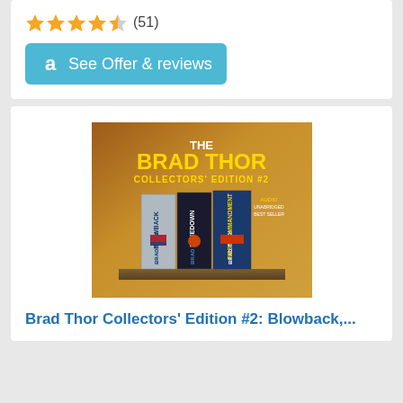[Figure (other): Star rating: 4.5 stars out of 5 with (51) reviews]
See Offer & reviews
[Figure (photo): Book cover image: The Brad Thor Collectors' Edition #2, showing three books - Blowback, Takedown, and First Commandment on a shelf]
Brad Thor Collectors' Edition #2: Blowback,...